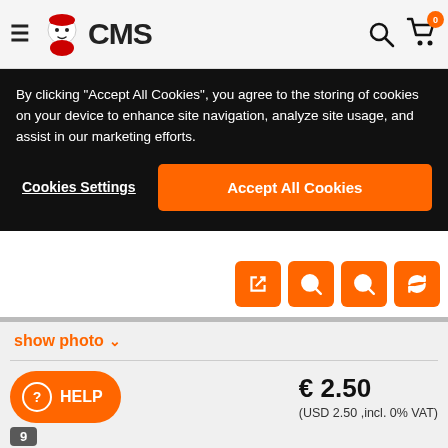CMS
By clicking "Accept All Cookies", you agree to the storing of cookies on your device to enhance site navigation, analyze site usage, and assist in our marketing efforts.
Cookies Settings
Accept All Cookies
show photo
HELP
9
€ 2.50
(USD 2.50 ,incl. 0% VAT)